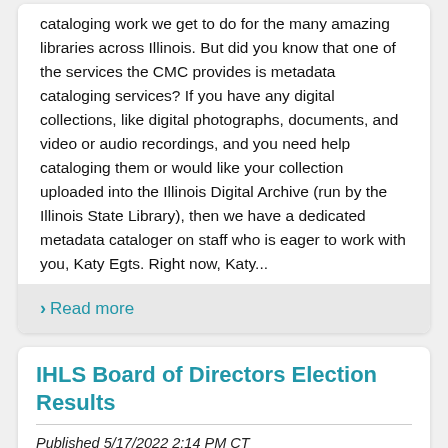cataloging work we get to do for the many amazing libraries across Illinois. But did you know that one of the services the CMC provides is metadata cataloging services? If you have any digital collections, like digital photographs, documents, and video or audio recordings, and you need help cataloging them or would like your collection uploaded into the Illinois Digital Archive (run by the Illinois State Library), then we have a dedicated metadata cataloger on staff who is eager to work with you, Katy Egts. Right now, Katy...
Read more
IHLS Board of Directors Election Results
Published 5/17/2022 2:14 PM CT
[Figure (photo): Black and white photo of a pencil or pen resting on scattered papers/envelopes]